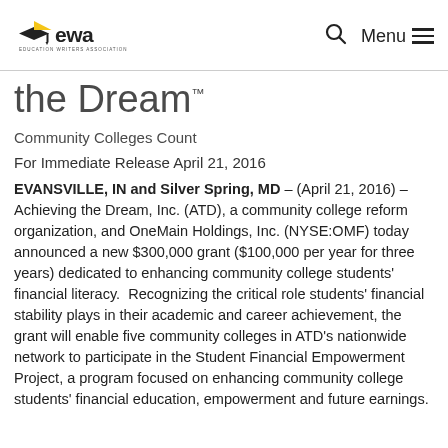EWA - Education Writers Association
the Dream™
Community Colleges Count
For Immediate Release April 21, 2016
EVANSVILLE, IN and Silver Spring, MD – (April 21, 2016) – Achieving the Dream, Inc. (ATD), a community college reform organization, and OneMain Holdings, Inc. (NYSE:OMF) today announced a new $300,000 grant ($100,000 per year for three years) dedicated to enhancing community college students' financial literacy.  Recognizing the critical role students' financial stability plays in their academic and career achievement, the grant will enable five community colleges in ATD's nationwide network to participate in the Student Financial Empowerment Project, a program focused on enhancing community college students' financial education, empowerment and future earnings.